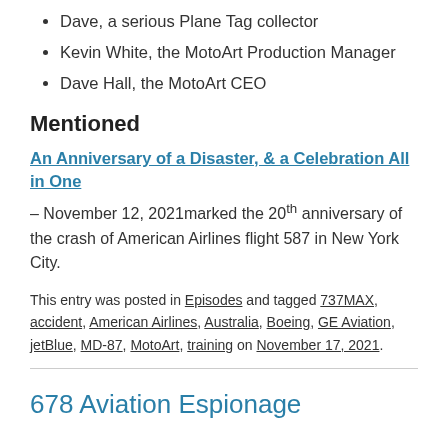Dave, a serious Plane Tag collector
Kevin White, the MotoArt Production Manager
Dave Hall, the MotoArt CEO
Mentioned
An Anniversary of a Disaster, & a Celebration All in One
– November 12, 2021marked the 20th anniversary of the crash of American Airlines flight 587 in New York City.
This entry was posted in Episodes and tagged 737MAX, accident, American Airlines, Australia, Boeing, GE Aviation, jetBlue, MD-87, MotoArt, training on November 17, 2021.
678 Aviation Espionage